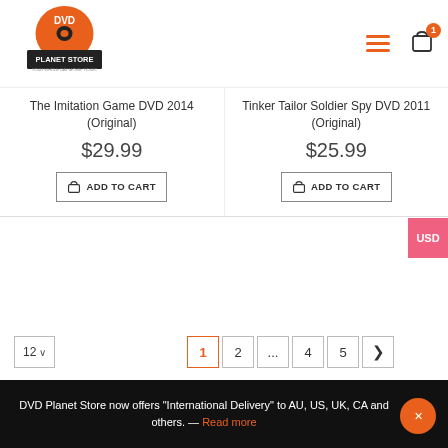[Figure (logo): DVD Planet Store logo — orange disc with DVD text and store branding]
The Imitation Game DVD 2014 (Original)
$29.99
ADD TO CART
Tinker Tailor Soldier Spy DVD 2011 (Original)
$25.99
ADD TO CART
USD
12 ∨  1  2  ...  4  5  >
TITLE SEARCH
DVD Planet Store now offers "International Delivery" to AU, US, UK, CA and others. — Read more